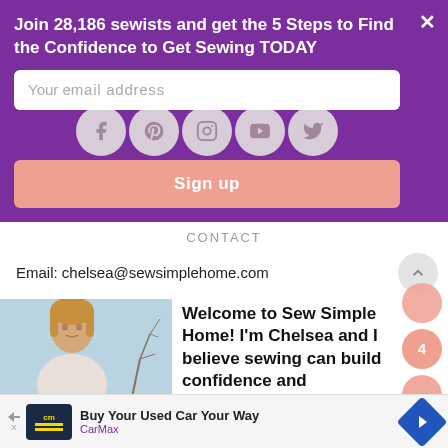Join 28,186 sewists and get the 5 Steps to Find the Confidence to Get Sewing TODAY
[Figure (screenshot): Email signup input field with placeholder text 'Your email address' on purple background, with social media icons (Facebook, Pinterest, Instagram, YouTube, Twitter) displayed as circles below]
[Figure (screenshot): Salmon/peach colored 'Sign up' button]
CONTACT
Email: chelsea@sewsimplehome.com
Welcome to Sew Simple Home!  I'm Chelsea and I believe sewing can build
[Figure (photo): Photo of a woman with blonde hair outdoors with bare trees in background]
[Figure (screenshot): Advertisement bar: CarMax - Buy Your Used Car Your Way]